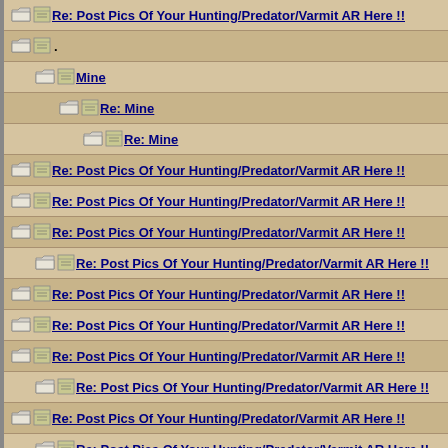Re: Post Pics Of Your Hunting/Predator/Varmit AR Here !!
.
Mine
Re: Mine
Re: Mine
Re: Post Pics Of Your Hunting/Predator/Varmit AR Here !!
Re: Post Pics Of Your Hunting/Predator/Varmit AR Here !!
Re: Post Pics Of Your Hunting/Predator/Varmit AR Here !!
Re: Post Pics Of Your Hunting/Predator/Varmit AR Here !!
Re: Post Pics Of Your Hunting/Predator/Varmit AR Here !!
Re: Post Pics Of Your Hunting/Predator/Varmit AR Here !!
Re: Post Pics Of Your Hunting/Predator/Varmit AR Here !!
Re: Post Pics Of Your Hunting/Predator/Varmit AR Here !!
Re: Post Pics Of Your Hunting/Predator/Varmit AR Here !!
Re: Post Pics Of Your Hunting/Predator/Varmit AR Here !!
Re: Post Pics Of Your Hunting/Predator/Varmit AR Here !!
Re: Post Pics Of Your Hunting/Predator/Varmit AR Here !!